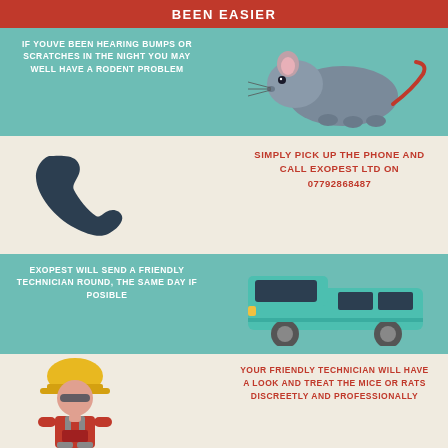BEEN EASIER
IF YOUVE BEEN HEARING BUMPS OR SCRATCHES IN THE NIGHT YOU MAY WELL HAVE A RODENT PROBLEM
[Figure (illustration): Cartoon grey rat with pink ears and red tail facing right]
[Figure (illustration): Cartoon black telephone handset icon]
SIMPLY PICK UP THE PHONE AND CALL EXOPEST LTD ON 07792868487
EXOPEST WILL SEND A FRIENDLY TECHNICIAN ROUND, THE SAME DAY IF POSIBLE
[Figure (illustration): Cartoon teal/green van facing right with dark windows]
[Figure (illustration): Cartoon construction worker in orange overalls and yellow hard hat]
YOUR FRIENDLY TECHNICIAN WILL HAVE A LOOK AND TREAT THE MICE OR RATS DISCREETLY AND PROFESSIONALLY